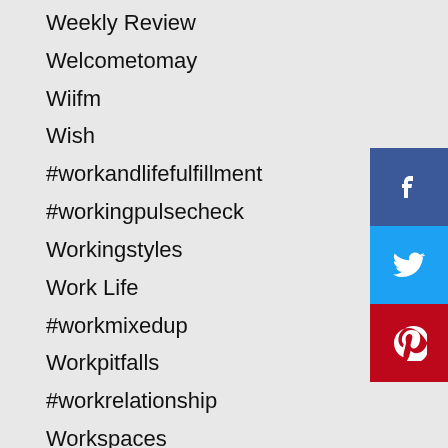Weekly Review
Welcometomay
Wiifm
Wish
#workandlifefulfillment
#workingpulsecheck
Workingstyles
Work Life
#workmixedup
Workpitfalls
#workrelationship
Workspaces
#workstyles
Worksuccess
Yearend
Year-end
Yearendbe8fec245a
Yearende4b6bc7171
Year-end-planning
[Figure (infographic): Social media sharing icons: Facebook (blue), Twitter (cyan), Pinterest (red)]